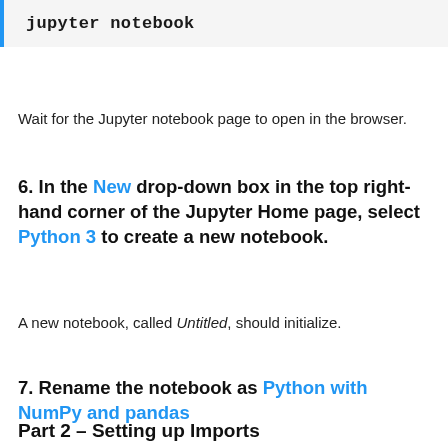jupyter notebook
Wait for the Jupyter notebook page to open in the browser.
6. In the New drop-down box in the top right-hand corner of the Jupyter Home page, select Python 3 to create a new notebook.
A new notebook, called Untitled, should initialize.
7. Rename the notebook as Python with NumPy and pandas
Part 2 – Setting up Imports